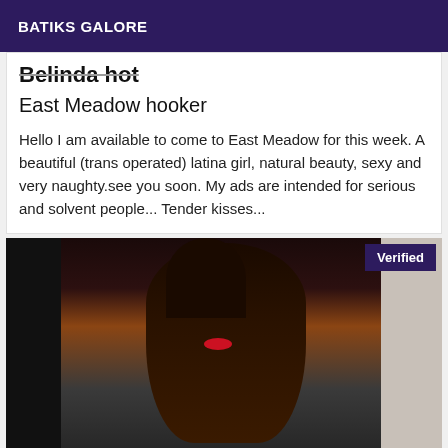BATIKS GALORE
Belinda hot
East Meadow hooker
Hello I am available to come to East Meadow for this week. A beautiful (trans operated) latina girl, natural beauty, sexy and very naughty.see you soon. My ads are intended for serious and solvent people... Tender kisses...
[Figure (photo): Young woman with long dark hair and red lipstick, wearing dark clothing, posed against a striped black and white background. A 'Verified' badge appears in the top right corner.]